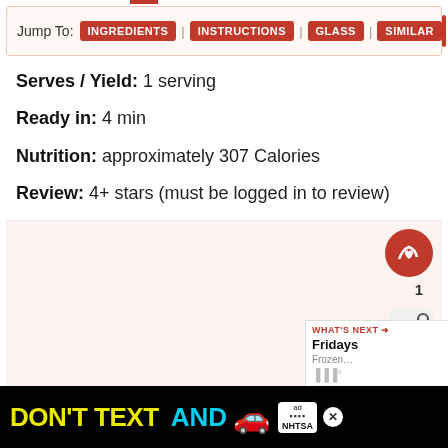Jump To: INGREDIENTS | INSTRUCTIONS | GLASS | SIMILAR
Serves / Yield: 1 serving
Ready in: 4 min
Nutrition: approximately 307 Calories
Review: 4+ stars (must be logged in to review)
[Figure (other): Recipe image placeholder area with like button showing count of 1 and a share button]
[Figure (other): Advertisement banner: DON'T TEXT AND [car emoji] with ad badge and NHTSA logo]
WHAT'S NEXT → Fridays Frozen...